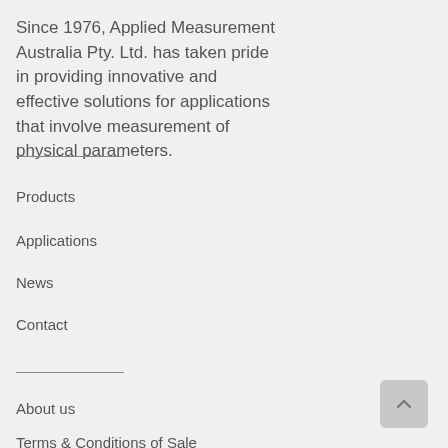Since 1976, Applied Measurement Australia Pty. Ltd. has taken pride in providing innovative and effective solutions for applications that involve measurement of physical parameters.
Products
Applications
News
Contact
About us
Terms & Conditions of Sale